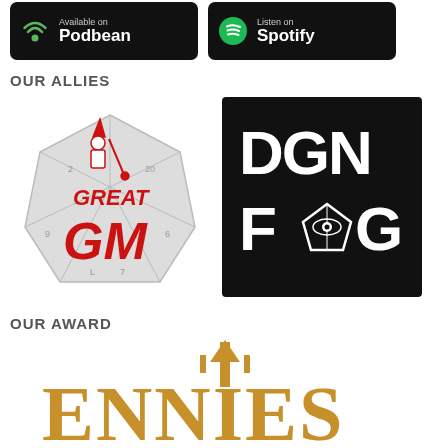[Figure (logo): Available on Podbean badge - black rounded rectangle with wifi/podcast icon in green and white text 'Available on Podbean']
[Figure (logo): Listen on Spotify badge - black rounded rectangle with Spotify logo in green and white text 'Listen on Spotify']
OUR ALLIES
[Figure (logo): Great GM logo - wizard figure holding a staff next to a d20 dice with red text 'GREAT GM']
[Figure (logo): DGN FOG logo - white text 'DGN FOG' with an icosahedron/eye symbol on black background]
OUR AWARD
[Figure (logo): ENnies award logo - golden stylized text 'ENNIES' with decorative trident/arrow element]